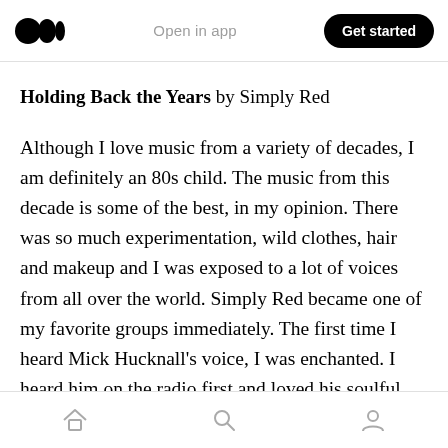Open in app   Get started
Holding Back the Years by Simply Red
Although I love music from a variety of decades, I am definitely an 80s child. The music from this decade is some of the best, in my opinion. There was so much experimentation, wild clothes, hair and makeup and I was exposed to a lot of voices from all over the world. Simply Red became one of my favorite groups immediately. The first time I heard Mick Hucknall’s voice, I was enchanted. I heard him on the radio first and loved his soulful
Home  Search  Profile